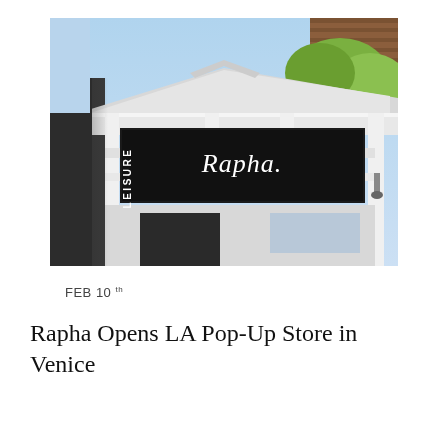[Figure (photo): Exterior photo of a Rapha store with white structural beams and roof, a large dark window/sign with the Rapha script logo, blue sky visible above, trees and a brick building in the background. A vertical white text label 'LEISURE' appears in the upper left of the photo.]
FEB 10th
Rapha Opens LA Pop-Up Store in Venice